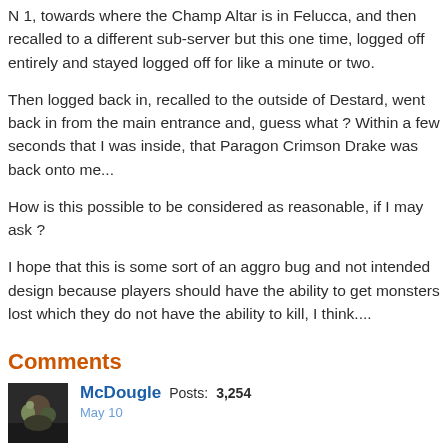N 1, towards where the Champ Altar is in Felucca, and then recalled to a different sub-server but this one time, logged off entirely and stayed logged off for like a minute or two.
Then logged back in, recalled to the outside of Destard, went back in from the main entrance and, guess what ? Within a few seconds that I was inside, that Paragon Crimson Drake was back onto me...
How is this possible to be considered as reasonable, if I may ask ?
I hope that this is some sort of an aggro bug and not intended design because players should have the ability to get monsters lost which they do not have the ability to kill, I think....
Comments
McDougle  Posts: 3,254  May 10
Popps this has happened forever...